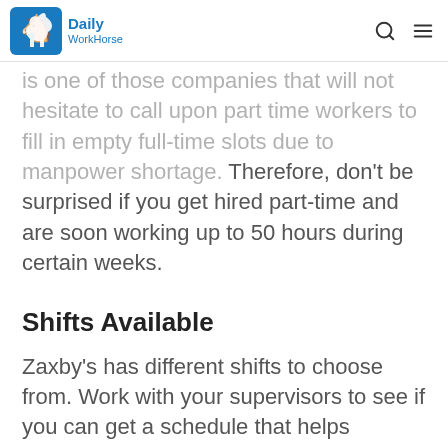Daily WorkHorse
is one of those companies that will not hesitate to call upon part time workers to fill in empty full-time slots due to manpower shortage. Therefore, don't be surprised if you get hired part-time and are soon working up to 50 hours during certain weeks.
Shifts Available
Zaxby's has different shifts to choose from. Work with your supervisors to see if you can get a schedule that helps